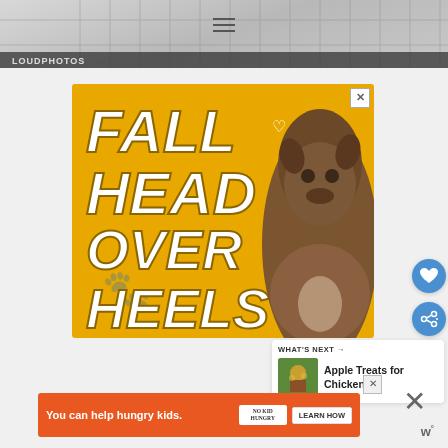[Figure (screenshot): Website header with gray background showing a fence/grid pattern, hamburger menu icon, and overlaid text]
[Figure (photo): Advertisement banner with gold/yellow background reading 'FALL HEAD OVER HEELS' in large bold white italic text, with a brown pit bull dog wearing a red collar on the right side, and heart decorations]
WHAT'S NEXT →
Apple Treats for Chickens
[Figure (screenshot): Bottom advertisement banner in orange with text 'You can help hungry kids.' with No Kid Hungry logo and 'LEARN HOW' button]